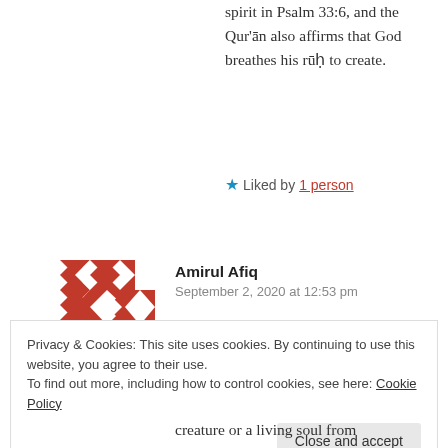spirit in Psalm 33:6, and the Qur'ān also affirms that God breathes his rūḥ to create.
Liked by 1 person
[Figure (illustration): Red and white geometric mosaic avatar icon for user Amirul Afiq]
Amirul Afiq
September 2, 2020 at 12:53 pm
I know right, likewise Job 33:4 supports this.
Privacy & Cookies: This site uses cookies. By continuing to use this website, you agree to their use.
To find out more, including how to control cookies, see here: Cookie Policy
Close and accept
creature or a living soul from